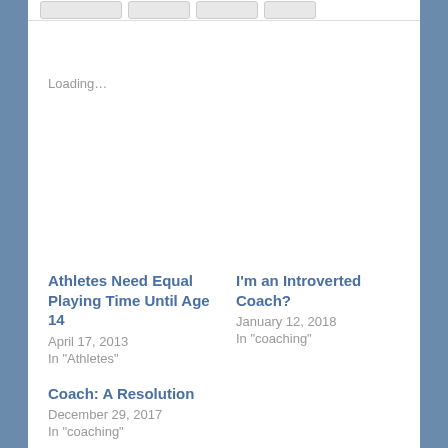Loading...
Athletes Need Equal Playing Time Until Age 14
April 17, 2013
In "Athletes"
I'm an Introverted Coach?
January 12, 2018
In "coaching"
Coach: A Resolution
December 29, 2017
In "coaching"
Tagged as: choosing to grow, coach, coaching, expectations, high school, high school athletes, high school parents, high school sports, high school teams, hockey, meagan frank, quit coaching, quitting